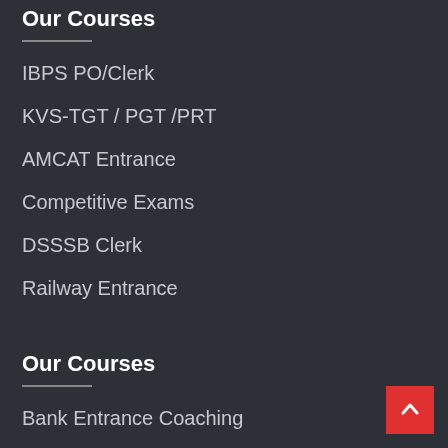Our Courses
IBPS PO/Clerk
KVS-TGT / PGT /PRT
AMCAT Entrance
Competitive Exams
DSSSB Clerk
Railway Entrance
Our Courses
Bank Entrance Coaching